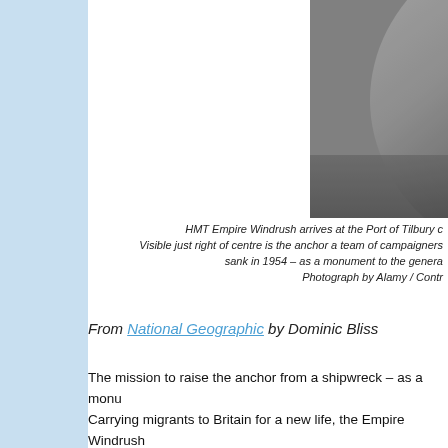[Figure (photo): Black and white photograph of HMT Empire Windrush arriving at the Port of Tilbury, showing the hull of the ship at water level.]
HMT Empire Windrush arrives at the Port of Tilbury c... Visible just right of centre is the anchor a team of campaigners... sank in 1954 – as a monument to the genera... Photograph by Alamy / Contr...
From National Geographic by Dominic Bliss
The mission to raise the anchor from a shipwreck – as a monu... Carrying migrants to Britain for a new life, the Empire Windrush... scandal.
This is the story of a ship, the people it carried, and a new plan...
WHEN the passenger liner HMT Empire Windrush docked at Po... with hundreds of Caribbean immigrants aboard, it was a key mo... The vessel later came to symbolise the scandalous way in whic... Windrush generation – who celebrate a day of recognition on Ju...
The ship itself now lies 2,800 metres down at the bottom of the...